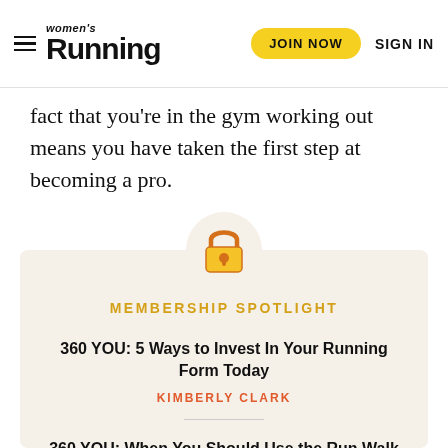Women's Running | JOIN NOW | SIGN IN
fact that you're in the gym working out means you have taken the first step at becoming a pro.
[Figure (illustration): Gold padlock icon centered above membership spotlight box]
MEMBERSHIP SPOTLIGHT
360 YOU: 5 Ways to Invest In Your Running Form Today
KIMBERLY CLARK
360 YOU: When You Should Use the Run Walk Method
THE EDITORS OF WOMEN'S RUNNING